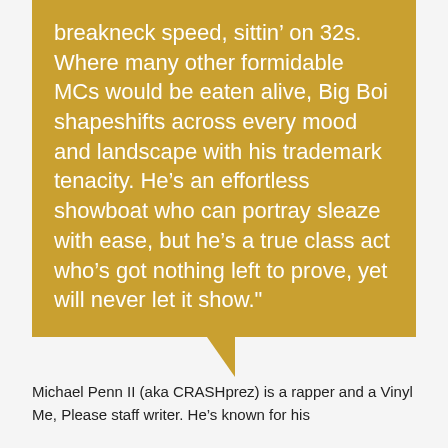breakneck speed, sittin' on 32s. Where many other formidable MCs would be eaten alive, Big Boi shapeshifts across every mood and landscape with his trademark tenacity. He's an effortless showboat who can portray sleaze with ease, but he's a true class act who's got nothing left to prove, yet will never let it show."
Michael Penn II (aka CRASHprez) is a rapper and a Vinyl Me, Please staff writer. He's known for his